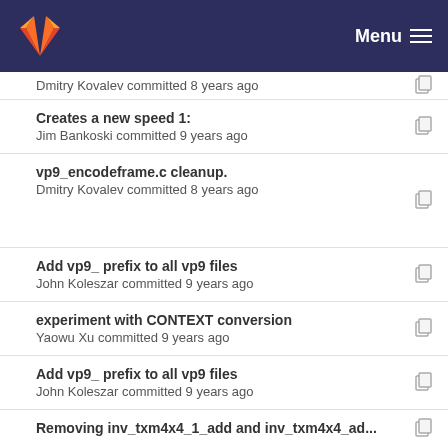GitLab — Menu
Dmitry Kovalev committed 8 years ago
Creates a new speed 1:
Jim Bankoski committed 9 years ago
vp9_encodeframe.c cleanup.
Dmitry Kovalev committed 8 years ago
Add vp9_ prefix to all vp9 files
John Koleszar committed 9 years ago
experiment with CONTEXT conversion
Yaowu Xu committed 9 years ago
Add vp9_ prefix to all vp9 files
John Koleszar committed 9 years ago
Removing inv_txm4x4_1_add and inv_txm4x4_ad...